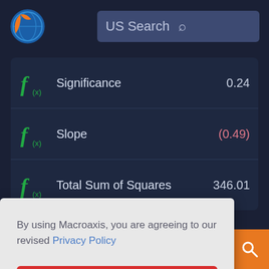[Figure (logo): Macroaxis globe logo - orange and blue circle]
US Search
Significance  0.24
Slope  (0.49)
Total Sum of Squares  346.01
By using Macroaxis, you are agreeing to our revised Privacy Policy
OK